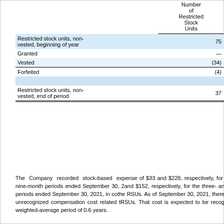|  | Number of Restricted Stock Units |
| --- | --- |
| Restricted stock units, non-vested, beginning of year | 75 |
| Granted | — |
| Vested | (34) |
| Forfeited | (4) |
|  |  |
| Restricted stock units, non-vested, end of period | 37 |
The Company recorded stock-based expense of $33 and $228, respectively, for nine-month periods ended September 30, 2 and $152, respectively, for the three- an periods ended September 30, 2021, in co the RSUs. As of September 30, 2021, there unrecognized compensation cost related t RSUs. That cost is expected to be recog weighted-average period of 0.6 years.